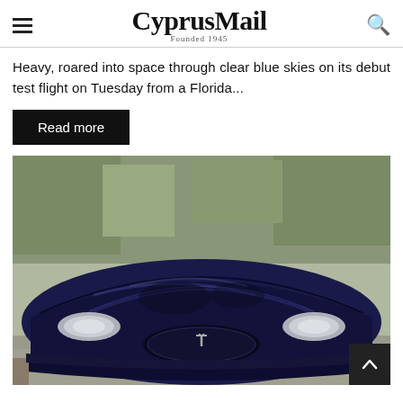CyprusMail — Founded 1945
Heavy, roared into space through clear blue skies on its debut test flight on Tuesday from a Florida...
Read more
[Figure (photo): Front view of a dark blue Tesla Model S car, photographed outdoors with trees in the background. The car is shown head-on, featuring the Tesla logo, smooth hood, and distinctive front grille and headlights.]